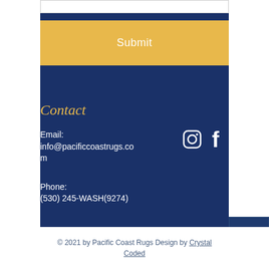[Figure (other): Submit button — golden/yellow rectangular button with white text 'Submit' centered]
Contact
Email:
info@pacificcoastrugs.com
[Figure (other): Instagram and Facebook social media icons in white outline style]
Phone:
(530) 245-WASH(9274)
© 2021 by Pacific Coast Rugs Design by Crystal Coded